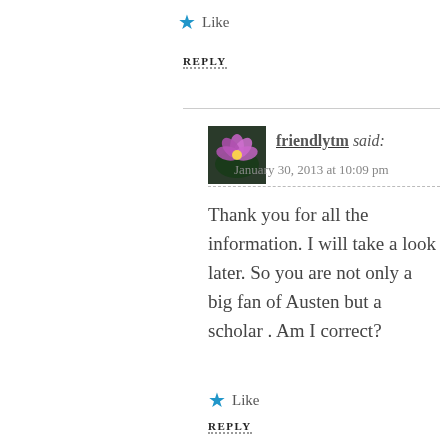★ Like
REPLY
friendlytm said:
January 30, 2013 at 10:09 pm
Thank you for all the information. I will take a look later. So you are not only a big fan of Austen but a scholar . Am I correct?
★ Like
REPLY
[Figure (photo): Avatar photo for friendlytm showing a purple/pink water lily flower on dark background]
Sarah Emsley said:
January 30, 2013 at 10:26 pm
[Figure (photo): Avatar photo for Sarah Emsley showing a woman's face, black and white photo]
It's true, I'm an